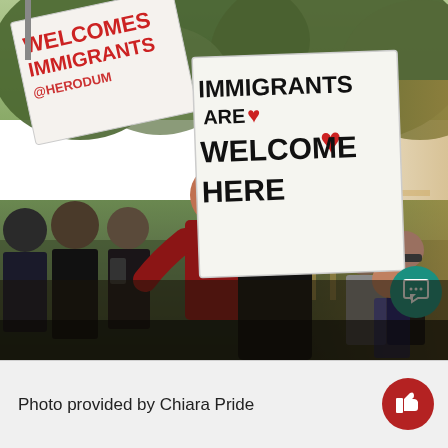[Figure (photo): Protesters at a rally holding signs. The central sign reads 'IMMIGRANTS ARE WELCOME HERE' with red hearts. A second sign on the left reads 'AMERICA WELCOMES IMMIGRANTS'. People are wearing red and black shirts in an outdoor setting with trees in the background.]
Photo provided by Chiara Pride